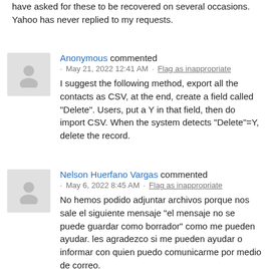have asked for these to be recovered on several occasions. Yahoo has never replied to my requests.
Anonymous commented · May 21, 2022 12:41 AM · Flag as inappropriate
I suggest the following method, export all the contacts as CSV, at the end, create a field called "Delete". Users, put a Y in that field, then do import CSV. When the system detects "Delete"=Y, delete the record.
Nelson Huerfano Vargas commented · May 6, 2022 8:45 AM · Flag as inappropriate
No hemos podido adjuntar archivos porque nos sale el siguiente mensaje "el mensaje no se puede guardar como borrador" como me pueden ayudar. les agradezco si me pueden ayudar o informar con quien puedo comunicarme por medio de correo. nhuerfano@tecnoevolucion.com